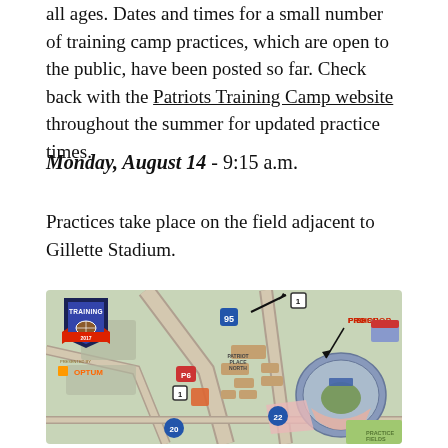all ages. Dates and times for a small number of training camp practices, which are open to the public, have been posted so far. Check back with the Patriots Training Camp website throughout the summer for updated practice times.
Monday, August 14 - 9:15 a.m.
Practices take place on the field adjacent to Gillette Stadium.
[Figure (map): Map of Gillette Stadium area showing Patriot Place North, practice fields, parking areas (P6, 20, 22), I-95, Route 1, Pro Shop, and Training Camp 2017 presented by Optum logo.]